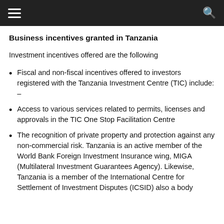Business incentives granted in Tanzania
Investment incentives offered are the following
Fiscal and non-fiscal incentives offered to investors registered with the Tanzania Investment Centre (TIC) include: –
Access to various services related to permits, licenses and approvals in the TIC One Stop Facilitation Centre
The recognition of private property and protection against any non-commercial risk. Tanzania is an active member of the World Bank Foreign Investment Insurance wing, MIGA (Multilateral Investment Guarantees Agency). Likewise, Tanzania is a member of the International Centre for Settlement of Investment Disputes (ICSID) also a body